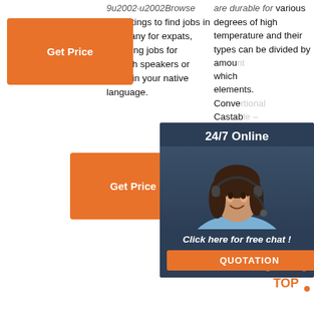9u2002·u2002Browse our listings to find jobs in Germany for expats, including jobs for English speakers or those in your native language.
[Figure (other): Orange 'Get Price' button (left column, top)]
[Figure (other): Orange 'Get Price' button (center, middle)]
are durable for various degrees of high temperature and their types can be divided by amount of CaO, which alloying elements. Convertional Castable – contains more than 25% of CaO. Low Cement Castable – contains 1%–2% of CaO. Cementless Castable – contains less than 0.2% of CaO.
[Figure (screenshot): 24/7 Online chat widget overlay with customer service representative photo, 'Click here for free chat!' text, and orange QUOTATION button]
[Figure (other): Orange TOP scroll-to-top button icon (bottom right)]